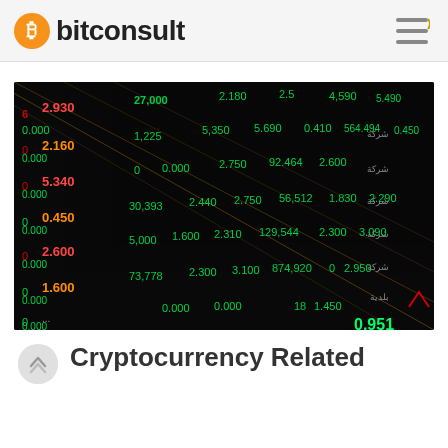bitconsult
[Figure (photo): Stock market ticker board showing financial data with green and red numbers including values like 2.930, 2.160, 5.340, 0.450, 2.600, 1.600, 27,000, 1.225, 0, 30,393, 5,000, 73,778 and other trading data on a dark background]
Cryptocurrency Related